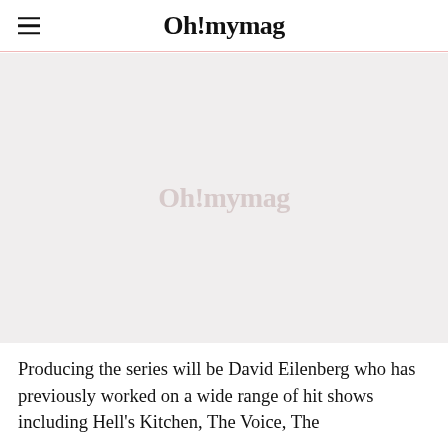Oh!mymag
[Figure (photo): Large image placeholder with ohmymag watermark logo on light grey/pink background]
Producing the series will be David Eilenberg who has previously worked on a wide range of hit shows including Hell's Kitchen, The Voice, The